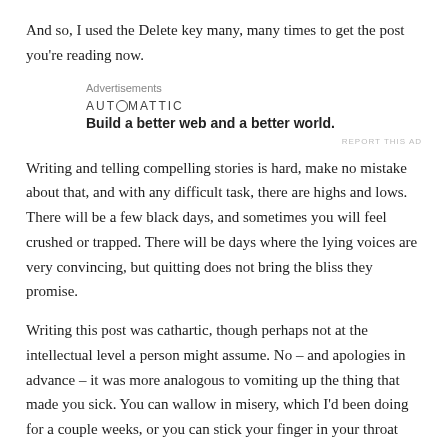And so, I used the Delete key many, many times to get the post you're reading now.
Advertisements
AUTOMATTIC
Build a better web and a better world.
Writing and telling compelling stories is hard, make no mistake about that, and with any difficult task, there are highs and lows. There will be a few black days, and sometimes you will feel crushed or trapped. There will be days where the lying voices are very convincing, but quitting does not bring the bliss they promise.
Writing this post was cathartic, though perhaps not at the intellectual level a person might assume. No – and apologies in advance – it was more analogous to vomiting up the thing that made you sick. You can wallow in misery, which I'd been doing for a couple weeks, or you can stick your finger in your throat and get it out. Our bodies are